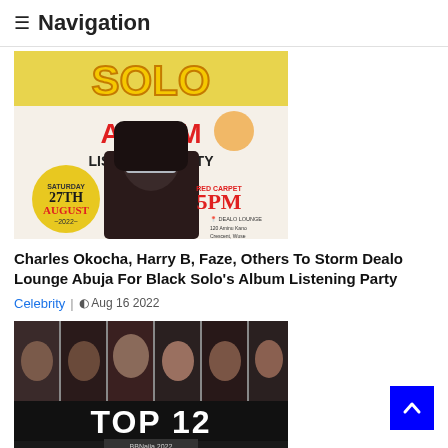≡ Navigation
[Figure (photo): Album listening party promotional banner for Black Solo's Solo Album Listening Party on Saturday 27th August 2022, Red Carpet 5PM, Dealo Lounge, 120 Aminu Kano Crescent, Wuse 5, Abuja. Shows artist wearing silver visor sunglasses.]
Charles Okocha, Harry B, Faze, Others To Storm Dealo Lounge Abuja For Black Solo's Album Listening Party
Celebrity | Aug 16 2022
[Figure (photo): BBNaija Top 12 contestants promo image showing multiple female faces in vertical strip panels with 'TOP 12' text overlay and 'BBNaija 2022' subtitle.]